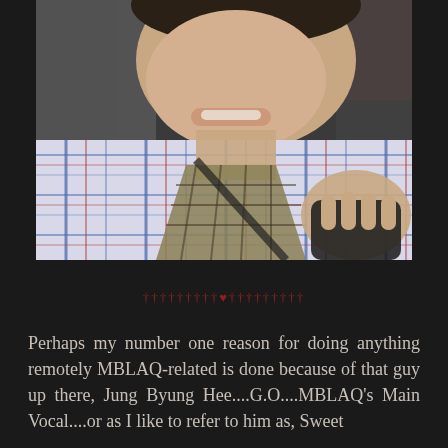[Figure (photo): Close-up photo of a young Asian man wearing a plaid (checkered) shirt with blue and red lines, smiling slightly. He appears to be sitting in a car seat. His hand is visible in the lower portion of the image holding what appears to be a dark object.]
†††††††††♥†††††††††
Perhaps my number one reason for doing anything remotely MBLAQ-related is done because of that guy up there, Jung Byung Hee....G.O....MBLAQ's Main Vocal....or as I like to refer to him as, Sweet